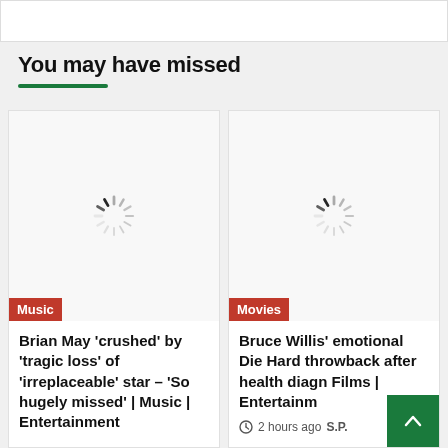You may have missed
[Figure (screenshot): News card with loading spinner for Music article: Brian May 'crushed' by 'tragic loss' of 'irreplaceable' star – 'So hugely missed' | Music | Entertainment. Category badge: Music.]
[Figure (screenshot): News card with loading spinner for Movies article: Bruce Willis' emotional Die Hard throwback after health diagn Films | Entertainm. Category badge: Movies. Meta: 2 hours ago S.P.]